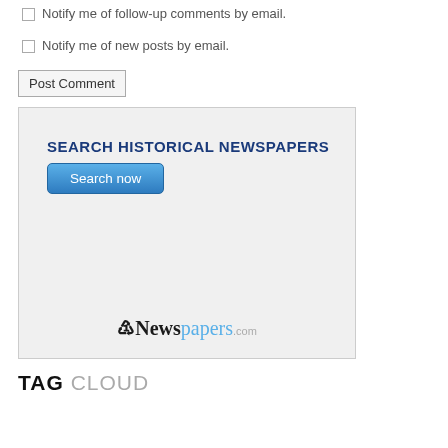Notify me of follow-up comments by email.
Notify me of new posts by email.
Post Comment
[Figure (screenshot): Advertisement box for Newspapers.com with heading 'SEARCH HISTORICAL NEWSPAPERS', a blue 'Search now' button, and the Newspapers.com logo at the bottom.]
TAG CLOUD